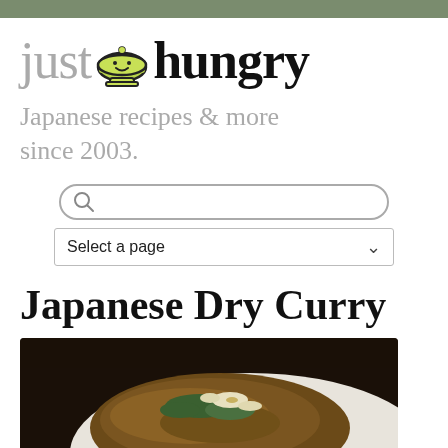[Figure (logo): just hungry logo with bowl icon between 'just' and 'hungry']
Japanese recipes & more since 2003.
[Figure (screenshot): Search input box with magnifying glass icon]
[Figure (screenshot): Select a page dropdown]
Japanese Dry Curry
[Figure (photo): Photo of Japanese Dry Curry dish on a plate with egg and herbs]